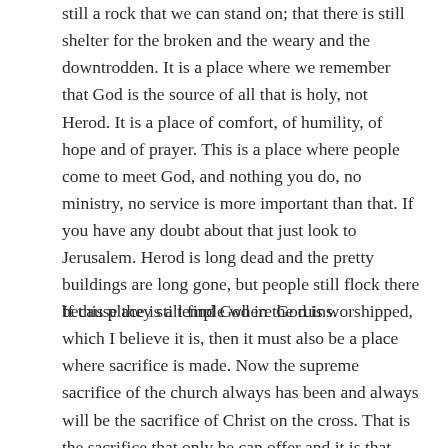still a rock that we can stand on; that there is still shelter for the broken and the weary and the downtrodden. It is a place where we remember that God is the source of all that is holy, not Herod. It is a place of comfort, of humility, of hope and of prayer. This is a place where people come to meet God, and nothing you do, no ministry, no service is more important than that. If you have any doubt about that just look to Jerusalem. Herod is long dead and the pretty buildings are long gone, but people still flock there because they still find God in the ruins.
If this place is a temple where God is worshipped, which I believe it is, then it must also be a place where sacrifice is made. Now the supreme sacrifice of the church always has been and always will be the sacrifice of Christ on the cross. That is the sacrifice that only he can offer and it is that